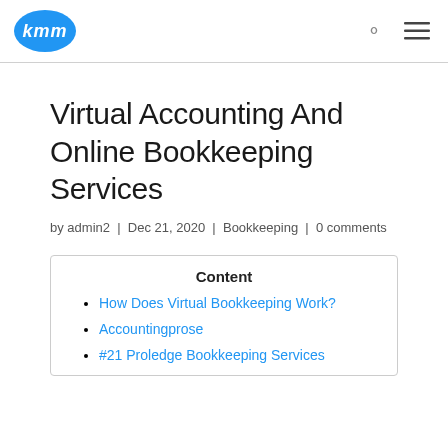kmm logo with search and menu icons
Virtual Accounting And Online Bookkeeping Services
by admin2 | Dec 21, 2020 | Bookkeeping | 0 comments
Content
How Does Virtual Bookkeeping Work?
Accountingprose
#21 Proledge Bookkeeping Services